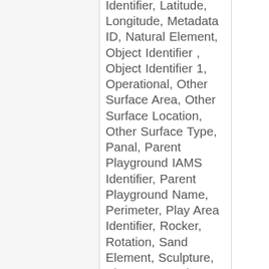Identifier, Latitude, Longitude, Metadata ID, Natural Element, Object Identifier , Object Identifier 1, Operational, Other Surface Area, Other Surface Location, Other Surface Type, Panal, Parent Playground IAMS Identifier, Parent Playground Name, Perimeter, Play Area Identifier, Rocker, Rotation, Sand Element, Sculpture, Shape Area, Shape Length, Slide, Sound, Surface Area, Surface Location, Surface Type, Swing, Total Structures, Track